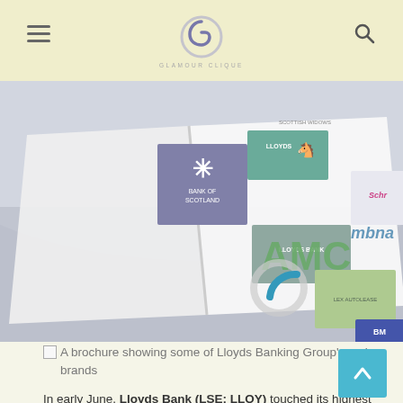[Figure (photo): A brochure showing some of Lloyds Banking Group's major brands including Bank of Scotland, Lloyds Bank, AMC, Lex Autolease, MBNA, and Schroders]
A brochure showing some of Lloyds Banking Group's major brands
In early June, Lloyds Bank (LSE: LLOY) touched its highest level in a year. It seemed like the FT 100 banking stock's long-awaited rally was finally